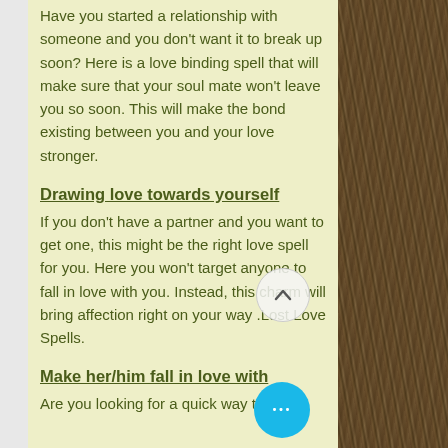Have you started a relationship with someone and you don’t want it to break up soon? Here is a love binding spell that will make sure that your soul mate won’t leave you so soon. This will make the bond existing between you and your love stronger.
Drawing love towards yourself
If you don’t have a partner and you want to get one, this might be the right love spell for you. Here you won’t target anyone to fall in love with you. Instead, this charm will bring affection right on your way .Lost Love Spells.
Make her/him fall in love with
Are you looking for a quick way to
[Figure (photo): Close-up photo of an animal with brown/grey fur texture on the right side of the page]